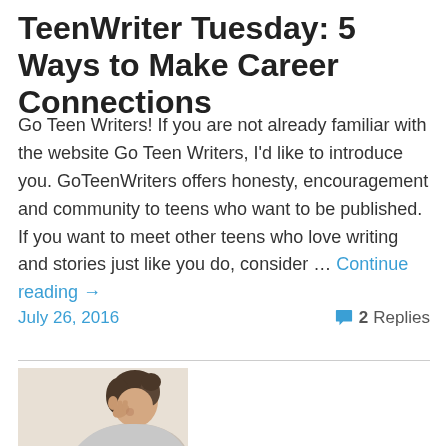TeenWriter Tuesday: 5 Ways to Make Career Connections
Go Teen Writers! If you are not already familiar with the website Go Teen Writers,  I'd like to introduce you. GoTeenWriters offers honesty, encouragement and community to teens who want to be published. If you want to meet other teens who love writing and stories just like you do, consider … Continue reading →
July 26, 2016
2 Replies
[Figure (photo): A young woman with dark hair pulled up, leaning forward with her hand raised to her face, appearing stressed or thoughtful, wearing a light grey top.]